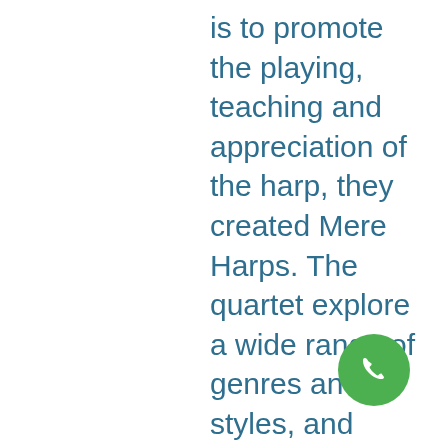is to promote the playing, teaching and appreciation of the harp, they created Mere Harps. The quartet explore a wide range of genres and styles, and show off how versatile these beautiful instruments can be. Come and join them at Scalesceugh Hall on November 24 for what should be a truly special evening of beautiful seasonal classics and more. Details and tickets available here. Meet the Mere-kats… Mary Dunsford Mary studied Music at Lancaster University, and continued fu to complete a Post Graduate
[Figure (other): Green circular phone/call button icon in the bottom-right area of the text]